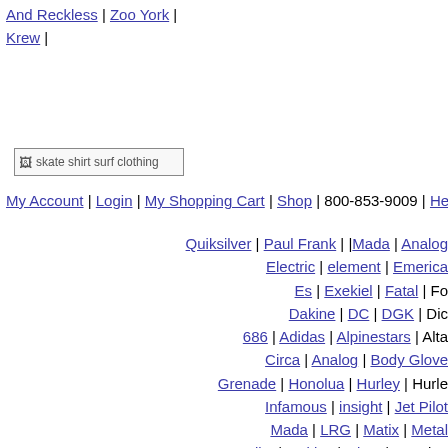And Reckless | Zoo York | Krew |
[Figure (other): skate shirt surf clothing logo/image]
My Account | Login | My Shopping Cart | Shop | 800-853-9009 | He...
Quiksilver | Paul Frank | |Mada | Analog... Electric | element | Emerica... Es | Exekiel | Fatal | Fo... Dakine | DC | DGK | Dic... 686 | Adidas | Alpinestars | Alta... Circa | Analog | Body Glove Grenade | Honolua | Hurley | Hurle... Infamous | insight | Jet Pilot Mada | LRG | Matix | Metal Nike | Oakley | Obey | O'Quinn... Quiksilver Edition | Rip Curl | RV... Skate Deck | Skate Boards | Skin Inc... Tap Out | Surf Shop | TL R...